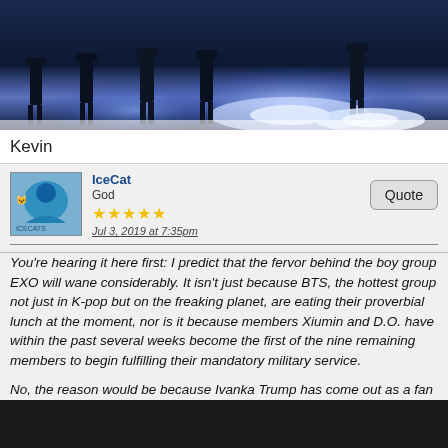[Figure (photo): Dark blue-toned photo of silhouettes of people standing on a reflective floor with bright blue/white light effects]
Kevin
IceCat
God
★★★★★
Jul 3, 2019 at 7:35pm
You're hearing it here first: I predict that the fervor behind the boy group EXO will wane considerably. It isn't just because BTS, the hottest group not just in K-pop but on the freaking planet, are eating their proverbial lunch at the moment, nor is it because members Xiumin and D.O. have within the past several weeks become the first of the nine remaining members to begin fulfilling their mandatory military service.

No, the reason would be because Ivanka Trump has come out as a fan of this group. Uh-oh.